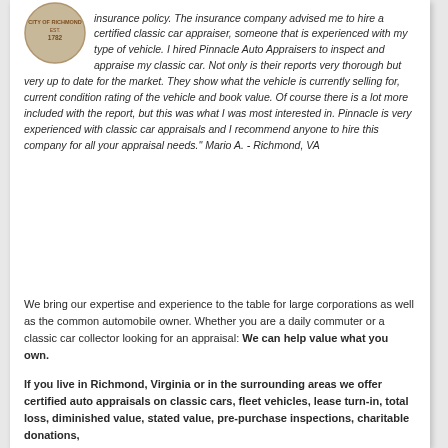insurance policy. The insurance company advised me to hire a certified classic car appraiser, someone that is experienced with my type of vehicle. I hired Pinnacle Auto Appraisers to inspect and appraise my classic car. Not only is their reports very thorough but very up to date for the market. They show what the vehicle is currently selling for, current condition rating of the vehicle and book value. Of course there is a lot more included with the report, but this was what I was most interested in. Pinnacle is very experienced with classic car appraisals and I recommend anyone to hire this company for all your appraisal needs." Mario A. - Richmond, VA
We bring our expertise and experience to the table for large corporations as well as the common automobile owner. Whether you are a daily commuter or a classic car collector looking for an appraisal: We can help value what you own.
If you live in Richmond, Virginia or in the surrounding areas we offer certified auto appraisals on classic cars, fleet vehicles, lease turn-in, total loss, diminished value, stated value, pre-purchase inspections, charitable donations,